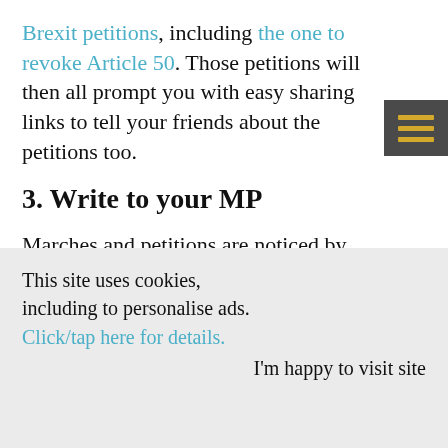Brexit petitions, including the one to revoke Article 50. Those petitions will then all prompt you with easy sharing links to tell your friends about the petitions too.
3. Write to your MP
Marches and petitions are noticed by Members of Parliament. What really cuts through,
This site uses cookies, including to personalise ads. Click/tap here for details.
I'm happy to visit site